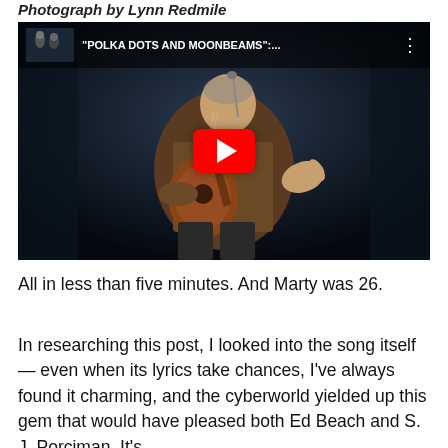Photograph by Lynn Redmile
[Figure (screenshot): YouTube video thumbnail showing a man playing guitar on stage with the title 'POLKA DOTS AND MOONBEAMS':... displayed on a dark overlay bar with a red play button in the center.]
All in less than five minutes. And Marty was 26.
In researching this post, I looked into the song itself — even when its lyrics take chances, I've always found it charming, and the cyberworld yielded up this gem that would have pleased both Ed Beach and S. J. Porciman. It's